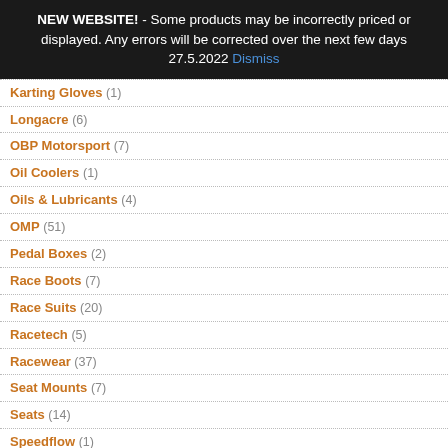NEW WEBSITE! - Some products may be incorrectly priced or displayed. Any errors will be corrected over the next few days 27.5.2022 Dismiss
Karting Gloves (1)
Longacre (6)
OBP Motorsport (7)
Oil Coolers (1)
Oils & Lubricants (4)
OMP (51)
Pedal Boxes (2)
Race Boots (7)
Race Suits (20)
Racetech (5)
Racewear (37)
Seat Mounts (7)
Seats (14)
Speedflow (1)
Steering (14)
Tools (1)
UltraShield (6)
Underwear (12)